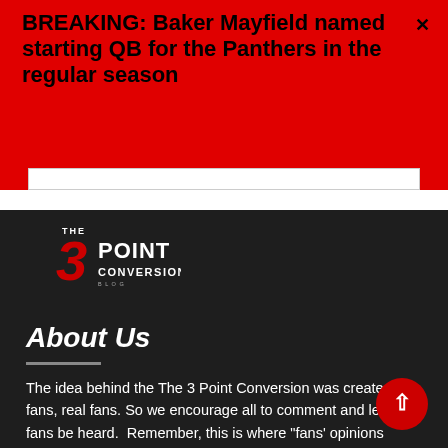BREAKING: Baker Mayfield named starting QB for the Panthers in the regular season
[Figure (logo): The 3 Point Conversion logo with red numeral 3 and white text on dark background]
About Us
The idea behind the The 3 Point Conversion was created for fans, real fans. So we encourage all to comment and let your fans be heard.  Remember, this is where "fans' opinions matter."